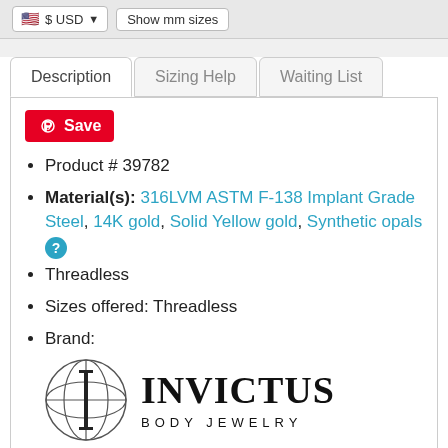$ USD   Show mm sizes
Description   Sizing Help   Waiting List
Product # 39782
Material(s): 316LVM ASTM F-138 Implant Grade Steel, 14K gold, Solid Yellow gold, Synthetic opals
Threadless
Sizes offered: Threadless
Brand:
[Figure (logo): Invictus Body Jewelry logo — circular globe graphic with letter I, text INVICTUS BODY JEWELRY]
Threadless ends will fit most of these posts. All measurements are approximate: